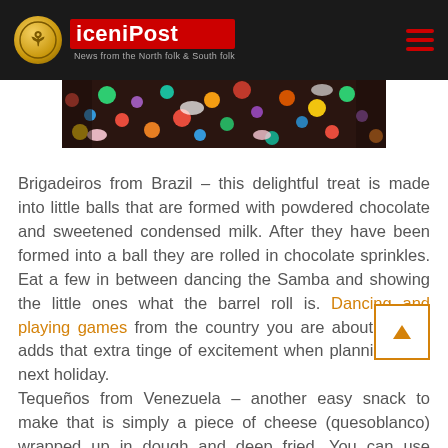iceniPost – News from the North folk & South folk
[Figure (photo): Colorful candy/sprinkles close-up photo used as article hero image]
Brigadeiros from Brazil – this delightful treat is made into little balls that are formed with powdered chocolate and sweetened condensed milk. After they have been formed into a ball they are rolled in chocolate sprinkles. Eat a few in between dancing the Samba and showing the little ones what the barrel roll is. Dancing and playing games from the country you are about to visit adds that extra tinge of excitement when planning your next holiday.
Tequeños from Venezuela – another easy snack to make that is simply a piece of cheese (quesoblanco) wrapped up in dough and deep fried. You can use pastry dough which is more authentic than bread dough but if you can't get any